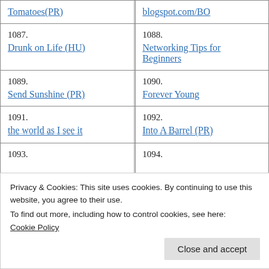| Tomatoes(PR) | blogspot.com/BO |
| 1087.
Drunk on Life (HU) | 1088.
Networking Tips for Beginners |
| 1089.
Send Sunshine (PR) | 1090.
Forever Young |
| 1091.
the world as I see it | 1092.
Into A Barrel (PR) |
| 1093. | 1094. |
Privacy & Cookies: This site uses cookies. By continuing to use this website, you agree to their use.
To find out more, including how to control cookies, see here:
Cookie Policy